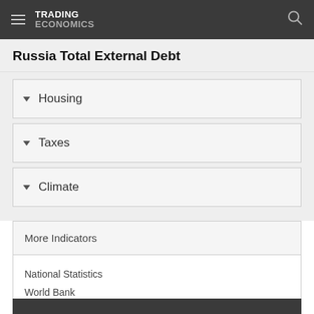TRADING ECONOMICS
Russia Total External Debt
Housing
Taxes
Climate
More Indicators
National Statistics
World Bank